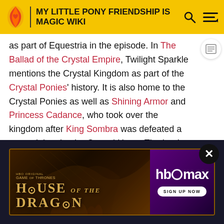MY LITTLE PONY FRIENDSHIP IS MAGIC WIKI
as part of Equestria in the episode. In The Ballad of the Crystal Empire, Twilight Sparkle mentions the Crystal Kingdom as part of the Crystal Ponies' history. It is also home to the Crystal Ponies as well as Shining Armor and Princess Cadance, who took over the kingdom after King Sombra was defeated a second time by the Crystal Heart. The book Twilight Sparkle and the Crystal Heart Spell names the Crystal Empire as part of Equestria.[2]
Crystal Mountains
[Figure (screenshot): Advertisement for HBO Max: House of the Dragon (Game of Thrones prequel) with HBO Max logo and 'Sign Up Now' button on purple background. A close button (X) is visible.]